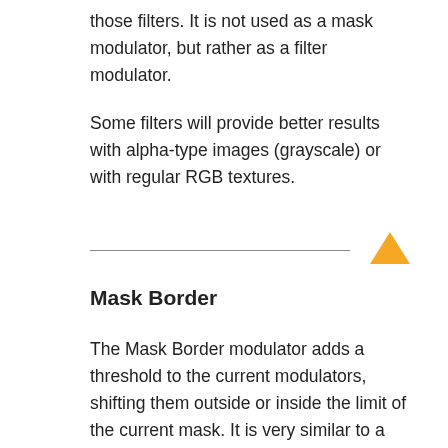those filters. It is not used as a mask modulator, but rather as a filter modulator.
Some filters will provide better results with alpha-type images (grayscale) or with regular RGB textures.
[Figure (other): Horizontal divider line with an orange upward-pointing arrow on the right]
Mask Border
The Mask Border modulator adds a threshold to the current modulators, shifting them outside or inside the limit of the current mask. It is very similar to a shrink or grow of the current mask.